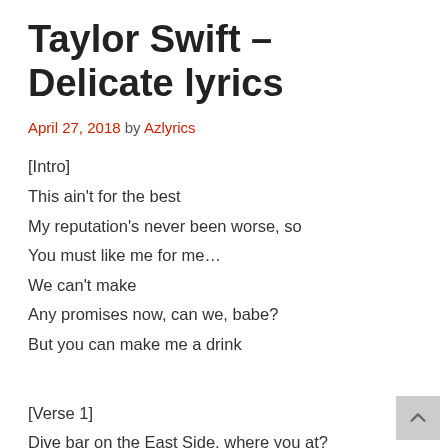Taylor Swift – Delicate lyrics
April 27, 2018 by Azlyrics
[Intro]
This ain't for the best
My reputation's never been worse, so
You must like me for me…
We can't make
Any promises now, can we, babe?
But you can make me a drink
[Verse 1]
Dive bar on the East Side, where you at?
Phone light up my night to…